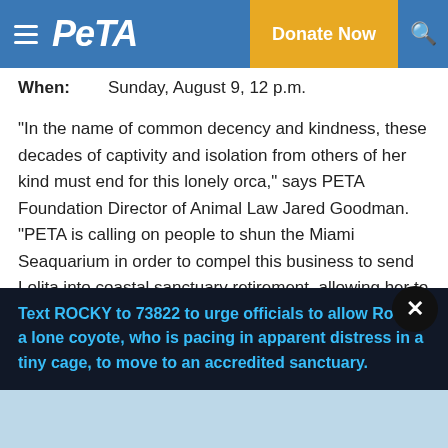PETA — Donate Now
When: Sunday, August 9, 12 p.m.
“In the name of common decency and kindness, these decades of captivity and isolation from others of her kind must end for this lonely orca,” says PETA Foundation Director of Animal Law Jared Goodman. “PETA is calling on people to shun the Miami Seaquarium in order to compel this business to send Lolita into coastal sanctuary retirement, allowing her to swim and communicate with the family members who are waiting for her in her ocean home.”
Text ROCKY to 73822 to urge officials to allow Rocky a lone coyote, who is pacing in apparent distress in a tiny cage, to move to an accredited sanctuary.